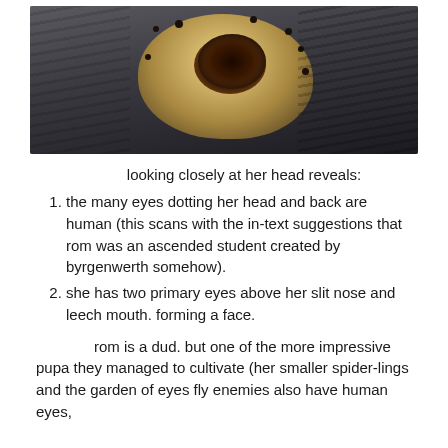[Figure (photo): Close-up photo of a creature from the Bloodborne video game — Rom, the Vacuous Spider. The creature has a pale yellowish organic body with a central dark oval orifice ringed with fang-like protrusions, and multiple small dark rounded protrusions (eyes) scattered across its surface. The background is dark and textured.]
looking closely at her head reveals:
the many eyes dotting her head and back are human (this scans with the in-text suggestions that rom was an ascended student created by byrgenwerth somehow).
she has two primary eyes above her slit nose and leech mouth. forming a face.
rom is a dud. but one of the more impressive pupa they managed to cultivate (her smaller spider-lings and the garden of eyes fly enemies also have human eyes,